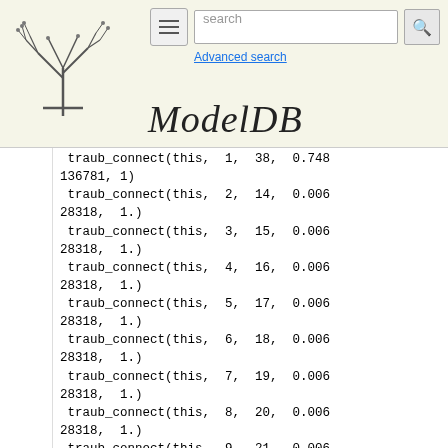ModelDB — Advanced search
traub_connect(this,  1,  38,  0.748136781, 1)
 traub_connect(this,  2,  14,  0.00628318,  1.)
 traub_connect(this,  3,  15,  0.00628318,  1.)
 traub_connect(this,  4,  16,  0.00628318,  1.)
 traub_connect(this,  5,  17,  0.00628318,  1.)
 traub_connect(this,  6,  18,  0.00628318,  1.)
 traub_connect(this,  7,  19,  0.00628318,  1.)
 traub_connect(this,  8,  20,  0.00628318,  1.)
 traub_connect(this,  9,  21,  0.00628318,  1.)
 traub_connect(this, 10,  38,  0.0123730314, 1.)
 traub_connect(this, 10,  38,  0.00...